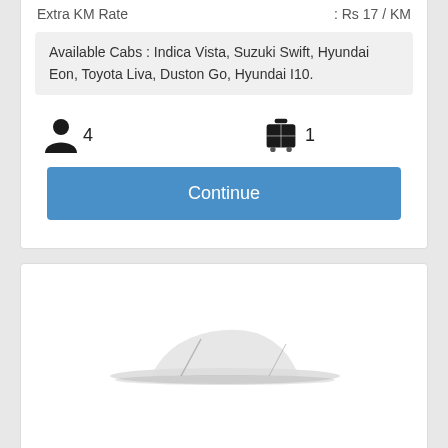Extra KM Rate : Rs 17 / KM
Available Cabs : Indica Vista, Suzuki Swift, Hyundai Eon, Toyota Liva, Duston Go, Hyundai I10.
4 (passengers) 1 (luggage)
Continue
[Figure (photo): Partial view of a car (roof/top portion) on white background]